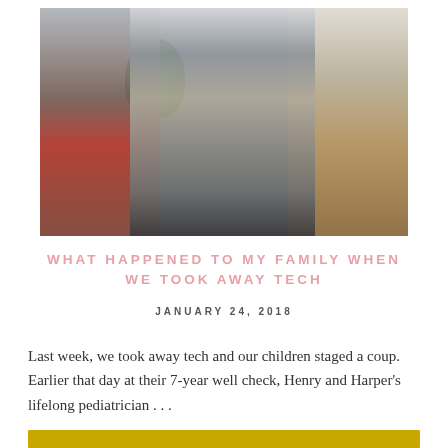[Figure (photo): A girl wearing a gray jacket and knit scarf holds a backpack with a raised fist expression, flanked by a boy in a gray shirt on the left and a partially visible figure on the right, with a green plant and indoor setting in the background.]
WHAT HAPPENED TO MY FAMILY WHEN WE TOOK AWAY TECH
JANUARY 24, 2018
Last week, we took away tech and our children staged a coup. Earlier that day at their 7-year well check, Henry and Harper's lifelong pediatrician . . .